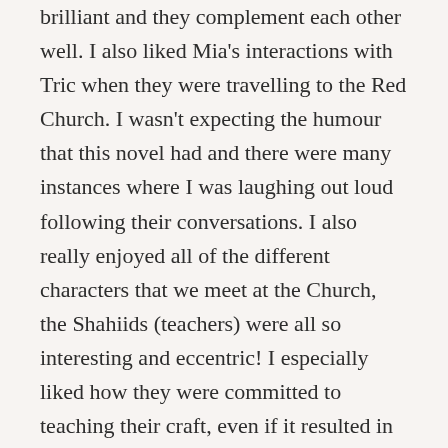brilliant and they complement each other well. I also liked Mia's interactions with Tric when they were travelling to the Red Church. I wasn't expecting the humour that this novel had and there were many instances where I was laughing out loud following their conversations. I also really enjoyed all of the different characters that we meet at the Church, the Shahiids (teachers) were all so interesting and eccentric! I especially liked how they were committed to teaching their craft, even if it resulted in the deaths of some of their students who weren't quite good enough.
The novel is told by an unnamed narrator who is recounting Mia's life, I thought this was a great way to tell the story. I really liked the tone of the narrator and, whilst I understand that some people